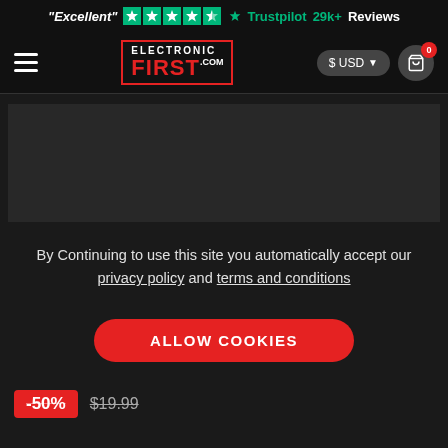"Excellent" ★★★★★ Trustpilot 29k+ Reviews
[Figure (screenshot): ElectronicFirst.com navigation bar with hamburger menu, logo, USD currency selector and cart icon showing 0 items]
[Figure (screenshot): Dark product image placeholder area]
By Continuing to use this site you automatically accept our privacy policy and terms and conditions
ALLOW COOKIES
-50% $19.99